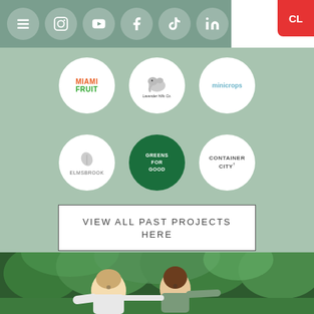[Figure (screenshot): Navigation bar with hamburger menu and social media icons: Instagram, YouTube, Facebook, TikTok, LinkedIn on sage green background]
[Figure (logo): Miami Fruit logo in circular white badge]
[Figure (logo): Eco Elephant Hills Co logo in circular white badge]
[Figure (logo): MiniCrops logo in circular white badge]
[Figure (logo): Elmsbrook logo in circular white badge]
[Figure (logo): Greens For Good logo in circular dark green badge]
[Figure (logo): Container City logo in circular white badge]
VIEW ALL PAST PROJECTS HERE
[Figure (photo): Two young people smiling with arms spread wide outdoors in a tropical garden setting]